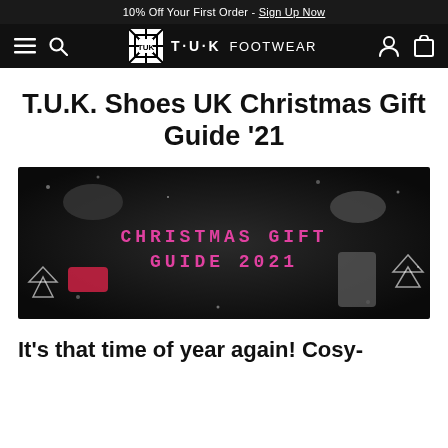10% Off Your First Order - Sign Up Now
[Figure (logo): TUK Footwear navigation bar with hamburger menu, search icon, TUK Footwear logo, account and cart icons on black background]
T.U.K. Shoes UK Christmas Gift Guide '21
[Figure (photo): Dark banner image showing various TUK shoes and accessories arranged around text reading 'CHRISTMAS GIFT GUIDE 2021' in pink pixel-style font, with snowflake and Christmas tree decorations on dark background]
It's that time of year again! Cosy-